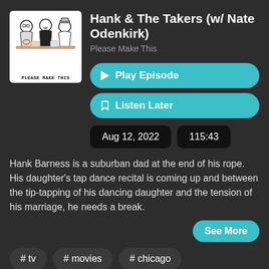[Figure (illustration): Podcast cover art for 'Please Make This' showing three cartoon figures seated at a table, with text 'PLEASE MAKE THIS' at the bottom]
Hank & The Takers (w/ Nate Odenkirk)
Please Make This
▶ Play Episode
🔖 Listen Later
Aug 12, 2022
115:43
Hank Barness is a suburban dad at the end of his rope. His daughter's tap dance recital is coming up and between the tip-tapping of his dancing daughter and the tension of his marriage, he needs a break.
See More
# tv
# movies
# chicago